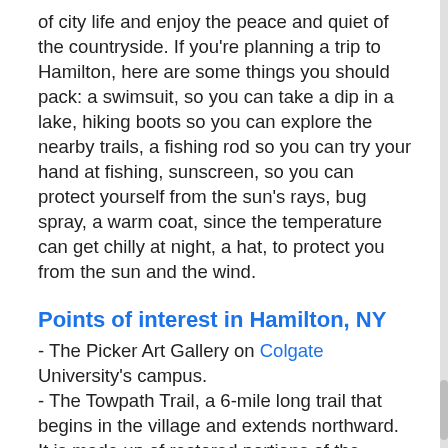of city life and enjoy the peace and quiet of the countryside. If you're planning a trip to Hamilton, here are some things you should pack: a swimsuit, so you can take a dip in a lake, hiking boots so you can explore the nearby trails, a fishing rod so you can try your hand at fishing, sunscreen, so you can protect yourself from the sun's rays, bug spray, a warm coat, since the temperature can get chilly at night, a hat, to protect you from the sun and the wind.
Points of interest in Hamilton, NY
- The Picker Art Gallery on Colgate University's campus.
- The Towpath Trail, a 6-mile long trail that begins in the village and extends northward. It is made up of restored portions of the Chenango Canal towpath.
- The Good Nature Farm Brewery Tap Room, an award-winning brewery located in Hamilton.
- The golf course is designed by Robert Trent Jones, Sr. and located on the east side of the village near the college campus.